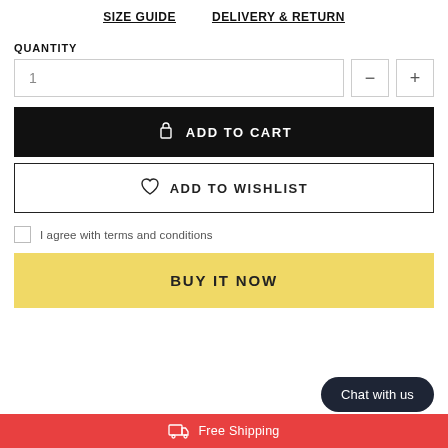SIZE GUIDE   DELIVERY & RETURN
QUANTITY
1
ADD TO CART
ADD TO WISHLIST
I agree with terms and conditions
BUY IT NOW
Chat with us
Free Shipping